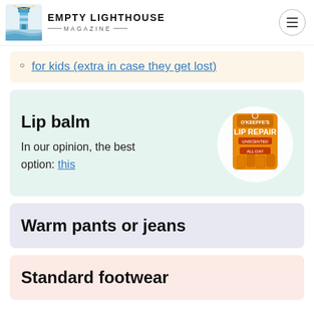EMPTY LIGHTHOUSE MAGAZINE
for kids (extra in case they get lost)
Lip balm
In our opinion, the best option: this
[Figure (photo): O'Keeffe's Lip Repair lip balm product photo showing multiple sticks in orange packaging]
Warm pants or jeans
Standard footwear